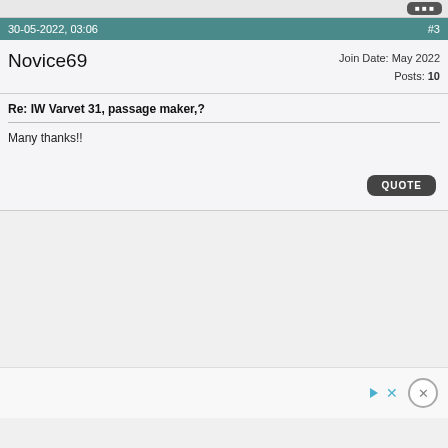30-05-2022, 03:06 #3
Novice69
Join Date: May 2022
Posts: 10
Re: IW Varvet 31, passage maker,?
Many thanks!!